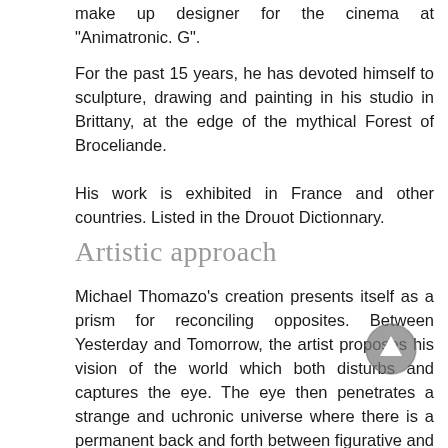make up designer for the cinema at "Animatronic. G".
For the past 15 years, he has devoted himself to sculpture, drawing and painting in his studio in Brittany, at the edge of the mythical Forest of Broceliande.
His work is exhibited in France and other countries. Listed in the Drouot Dictionnary.
Artistic approach
Michael Thomazo's creation presents itself as a prism for reconciling opposites. Between Yesterday and Tomorrow, the artist proposes his vision of the world which both disturbs and captures the eye. The eye then penetrates a strange and uchronic universe where there is a permanent back and forth between figurative and fantastic.